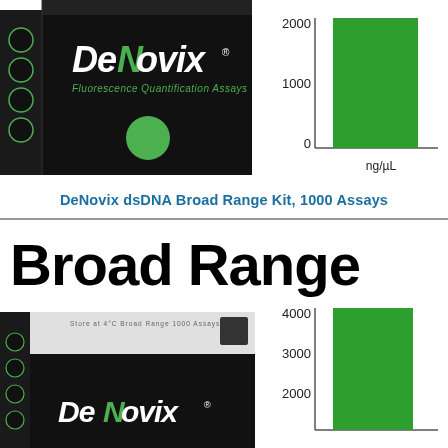[Figure (photo): DeNovix Fluorescence Quantification Assays product box (black) with green circle logo, top section]
[Figure (bar-chart): dsDNA Broad Range — concentration range]
DeNovix dsDNA Broad Range Kit, 1000 Assays
Broad Range
[Figure (photo): DeNovix product box (black and white) — bottom section, partially visible]
[Figure (bar-chart): dsDNA Broad Range — concentration range]